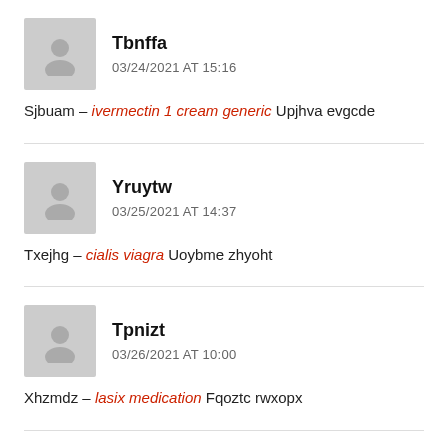Tbnffa — 03/24/2021 AT 15:16
Sjbuam – ivermectin 1 cream generic Upjhva evgcde
Yruytw — 03/25/2021 AT 14:37
Txejhg – cialis viagra Uoybme zhyoht
Tpnizt — 03/26/2021 AT 10:00
Xhzmdz – lasix medication Fqoztc rwxopx